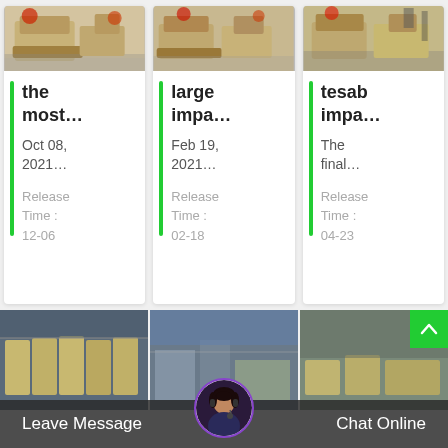[Figure (photo): Industrial crusher/machinery equipment photo - card 1 (the most...)]
the most...
Oct 08, 2021...
Release Time : 12-06
[Figure (photo): Industrial crusher/machinery equipment photo - card 2 (large impa...)]
large impa...
Feb 19, 2021...
Release Time : 02-18
[Figure (photo): Industrial crusher/machinery equipment photo - card 3 (tesab impa...)]
tesab impa...
The final...
Release Time : 04-23
[Figure (photo): Bottom row: three industrial machinery photos]
Leave Message
Chat Online